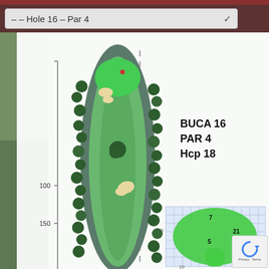-- Hole 16 – Par 4
[Figure (illustration): Golf hole diagram for Hole 16, Par 4, Hcp 18. Shows a narrow fairway with trees on both sides, bunkers, and a green at the top. Yardage markers at 100 and 150 yards. A green shape diagram with numbers 7, 21, 5, 21 is shown in the bottom right.]
BUCA 16
PAR 4
Hcp 18